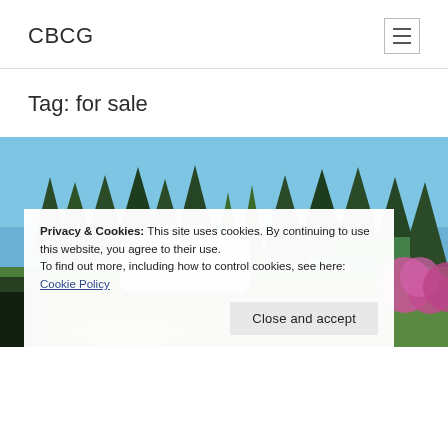CBCG
Tag: for sale
[Figure (photo): Outdoor photo showing tall evergreen trees against a clear blue sky, with a white caravan/trailer and colorful rhododendron bushes in the foreground]
Privacy & Cookies: This site uses cookies. By continuing to use this website, you agree to their use.
To find out more, including how to control cookies, see here: Cookie Policy
Close and accept